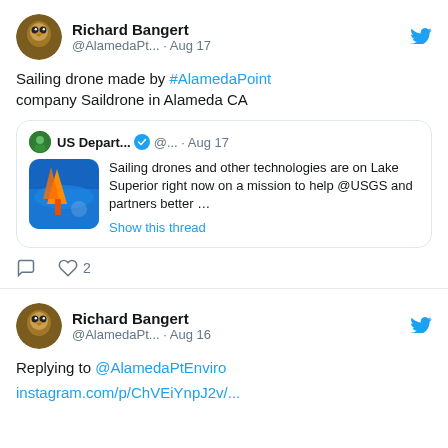[Figure (screenshot): Twitter/social media feed screenshot showing two tweet blocks from Richard Bangert (@AlamedaPt...)]
Richard Bangert
@AlamedaPt... · Aug 17
Sailing drone made by #AlamedaPoint company Saildrone in Alameda CA
US Depart... @... · Aug 17
Sailing drones and other technologies are on Lake Superior right now on a mission to help @USGS and partners better …
Show this thread
Richard Bangert
@AlamedaPt... · Aug 16
Replying to @AlamedaPtEnviro
instagram.com/p/ChVEiYnpJ2v/...